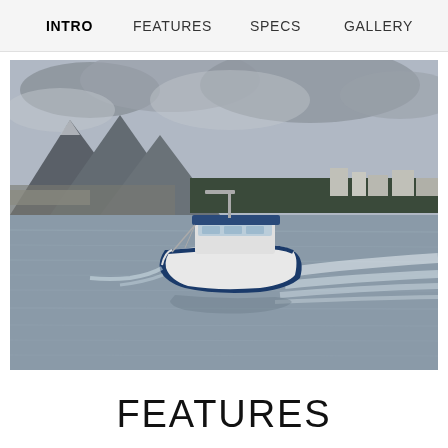INTRO   FEATURES   SPECS   GALLERY
[Figure (photo): A white and blue motorboat speeding across a calm grey lake or bay, with mountains, evergreen trees, and an overcast sky in the background.]
FEATURES